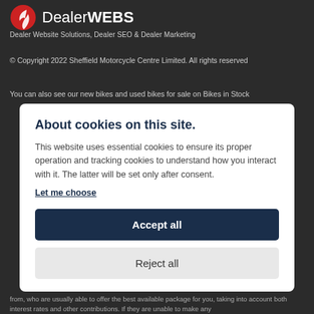[Figure (logo): DealerWEBS logo with red flame/leaf icon and bold text]
Dealer Website Solutions, Dealer SEO & Dealer Marketing
© Copyright 2022 Sheffield Motorcycle Centre Limited. All rights reserved
You can also see our new bikes and used bikes for sale on Bikes in Stock
About cookies on this site.
This website uses essential cookies to ensure its proper operation and tracking cookies to understand how you interact with it. The latter will be set only after consent. Let me choose
Accept all
Reject all
from, who are usually able to offer the best available package for you, taking into account both interest rates and other contributions. If they are unable to make any